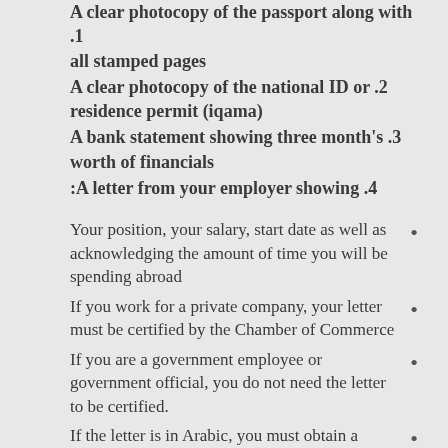A clear photocopy of the passport along with all stamped pages .1
A clear photocopy of the national ID or residence permit (iqama) .2
A bank statement showing three month's worth of financials .3
.4 A letter from your employer showing:
Your position, your salary, start date as well as acknowledging the amount of time you will be spending abroad
If you work for a private company, your letter must be certified by the Chamber of Commerce
If you are a government employee or government official, you do not need the letter to be certified.
If the letter is in Arabic, you must obtain a certified translation in English.